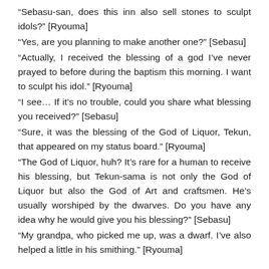“Sebasu-san, does this inn also sell stones to sculpt idols?” [Ryouma]
“Yes, are you planning to make another one?” [Sebasu]
“Actually, I received the blessing of a god I’ve never prayed to before during the baptism this morning. I want to sculpt his idol.” [Ryouma]
“I see… If it’s no trouble, could you share what blessing you received?” [Sebasu]
“Sure, it was the blessing of the God of Liquor, Tekun, that appeared on my status board.” [Ryouma]
“The God of Liquor, huh? It’s rare for a human to receive his blessing, but Tekun-sama is not only the God of Liquor but also the God of Art and craftsmen. He’s usually worshiped by the dwarves. Do you have any idea why he would give you his blessing?” [Sebasu]
“My grandpa, who picked me up, was a dwarf. I’ve also helped a little in his smithing.” [Ryouma]